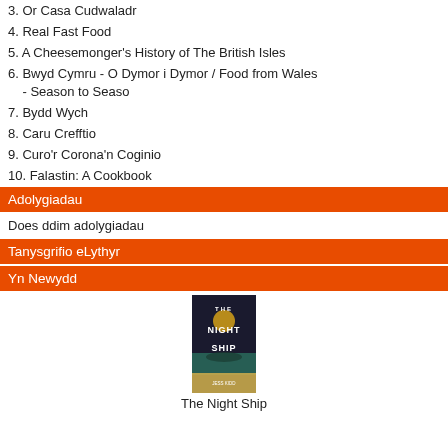3. Or Casa Cudwaladr
4. Real Fast Food
5. A Cheesemonger's History of The British Isles
6. Bwyd Cymru - O Dymor i Dymor / Food from Wales - Season to Seaso
7. Bydd Wych
8. Caru Crefftio
9. Curo'r Corona'n Coginio
10. Falastin: A Cookbook
Adolygiadau
Does ddim adolygiadau
Tanysgrifio eLythyr
Yn Newydd
[Figure (illustration): Book cover for The Night Ship by Jess Kidd, showing a dark navy background with gold and teal imagery]
The Night Ship